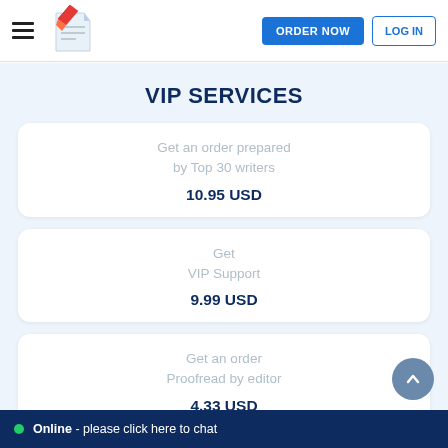ORDER NOW  LOG IN
VIP SERVICES
Get an order prepared by Top 30 writers
10.95 USD
Get
VIP Support
9.99 USD
Get an order
Proofread by editor
4.33 USD
Online - please click here to chat